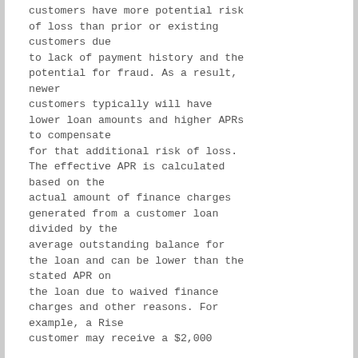customers have more potential risk of loss than prior or existing customers due to lack of payment history and the potential for fraud. As a result, newer customers typically will have lower loan amounts and higher APRs to compensate for that additional risk of loss. The effective APR is calculated based on the actual amount of finance charges generated from a customer loan divided by the average outstanding balance for the loan and can be lower than the stated APR on the loan due to waived finance charges and other reasons. For example, a Rise customer may receive a $2,000